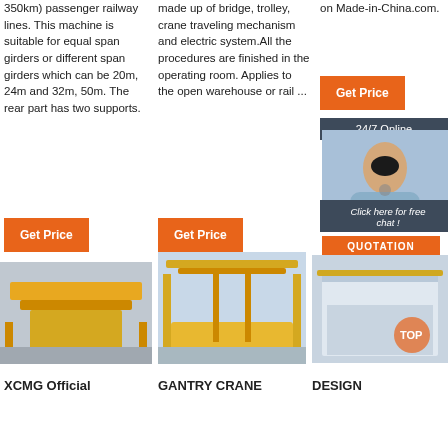350km) passenger railway lines. This machine is suitable for equal span girders or different span girders which can be 20m, 24m and 32m, 50m. The rear part has two supports.
made up of bridge, trolley, crane traveling mechanism and electric system.All the procedures are finished in the operating room. Applies to the open warehouse or rail ...
on Made-in-China.com.
[Figure (other): Orange 'Get Price' button - column 1]
[Figure (other): Orange 'Get Price' button - column 2]
[Figure (other): Orange 'Get Price' button - column 3]
[Figure (other): 24/7 Online chat widget with customer service representative photo]
[Figure (photo): XCMG overhead crane yellow - industrial crane photo]
[Figure (photo): Gantry crane yellow large outdoor - industrial gantry crane photo]
[Figure (photo): Design crane in warehouse interior photo with TOP watermark]
XCMG Official
GANTRY CRANE
DESIGN